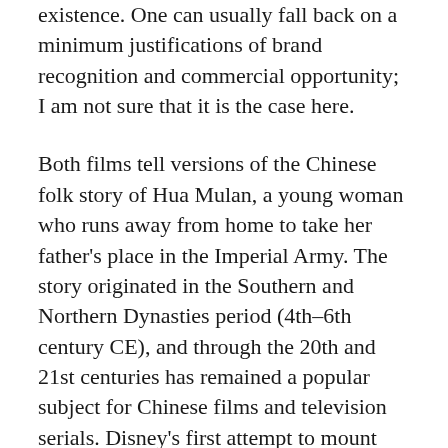existence. One can usually fall back on a minimum justifications of brand recognition and commercial opportunity; I am not sure that it is the case here.
Both films tell versions of the Chinese folk story of Hua Mulan, a young woman who runs away from home to take her father's place in the Imperial Army. The story originated in the Southern and Northern Dynasties period (4th–6th century CE), and through the 20th and 21st centuries has remained a popular subject for Chinese films and television serials. Disney's first attempt to mount Mulan in 1998 has been widely seen as an attempt by the company to capitalise on the Chinese film market. For the second attempt the film seems even more aggressive in capturing that audience. The new film removes all elements that were seen as a barrier to mainstream Chinese success – the songs, the comedy dragon sidekick, and so on – and casts key